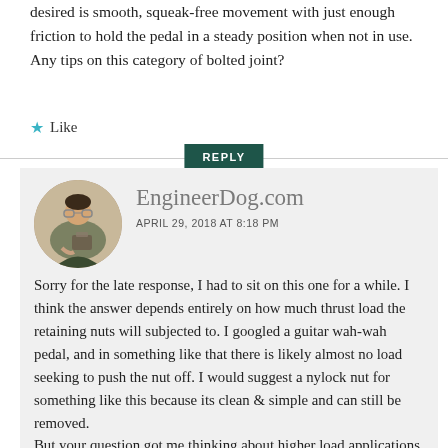desired is smooth, squeak-free movement with just enough friction to hold the pedal in a steady position when not in use. Any tips on this category of bolted joint?
★ Like
REPLY
EngineerDog.com
APRIL 29, 2018 AT 8:18 PM
Sorry for the late response, I had to sit on this one for a while. I think the answer depends entirely on how much thrust load the retaining nuts will subjected to. I googled a guitar wah-wah pedal, and in something like that there is likely almost no load seeking to push the nut off. I would suggest a nylock nut for something like this because its clean & simple and can still be removed.
But your question got me thinking about higher load applications, like hinges for tilting solar panels on my